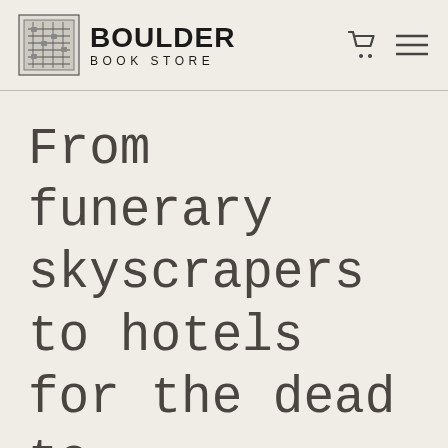Boulder Book Store
From funerary skyscrapers to hotels for the dead to interstellar starships,